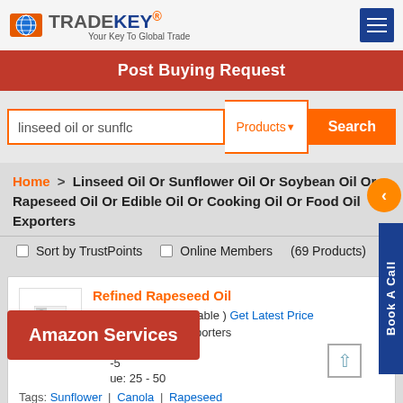[Figure (logo): TradeKey logo with globe icon and tagline 'Your Key To Global Trade']
Post Buying Request
linseed oil or sunflc   Products▼   Search
Home > Linseed Oil Or Sunflower Oil Or Soybean Oil Or Rapeseed Oil Or Edible Oil Or Cooking Oil Or Food Oil Exporters
Sort by TrustPoints   Online Members   (69 Products)
Refined Rapeseed Oil
FOB Price: ( Negotiable ) Get Latest Price
Business Type: Exporters
Amazon Services
Tags: Sunflower | Canola | Rapeseed